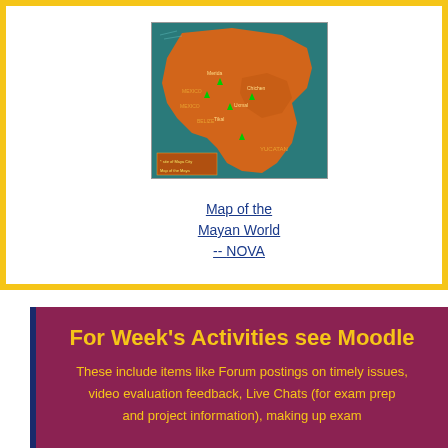[Figure (map): Map of the Mayan World showing the geographic region of Mesoamerica in orange/teal colors with labeled Mayan cities and sites]
Map of the Mayan World -- NOVA
For Week's Activities see Moodle
These include items like Forum postings on timely issues, video evaluation feedback, Live Chats (for exam prep and project information), making up exam